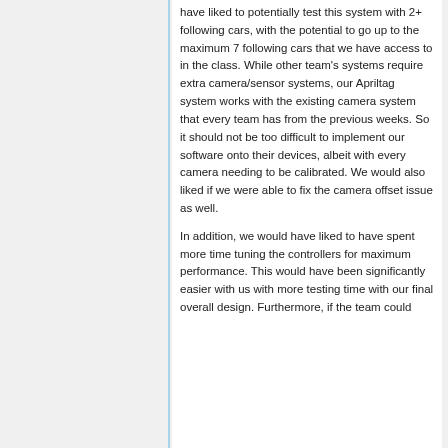have liked to potentially test this system with 2+ following cars, with the potential to go up to the maximum 7 following cars that we have access to in the class. While other team's systems require extra camera/sensor systems, our Apriltag system works with the existing camera system that every team has from the previous weeks. So it should not be too difficult to implement our software onto their devices, albeit with every camera needing to be calibrated. We would also liked if we were able to fix the camera offset issue as well.
In addition, we would have liked to have spent more time tuning the controllers for maximum performance. This would have been significantly easier with us with more testing time with our final overall design. Furthermore, if the team could